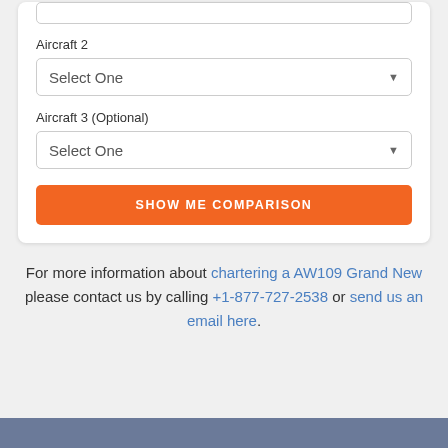Aircraft 2
Select One
Aircraft 3 (Optional)
Select One
SHOW ME COMPARISON
For more information about chartering a AW109 Grand New please contact us by calling +1-877-727-2538 or send us an email here.